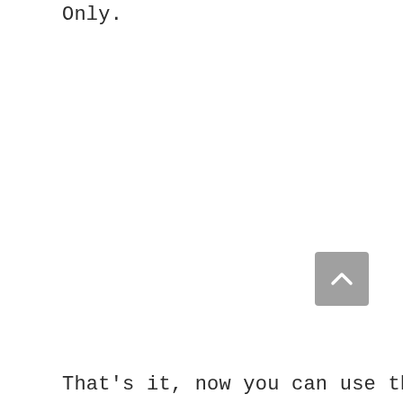Only.
[Figure (illustration): A gray rounded square button with a white upward-pointing chevron arrow, used as a scroll-to-top UI element.]
That's it, now you can use this image in your